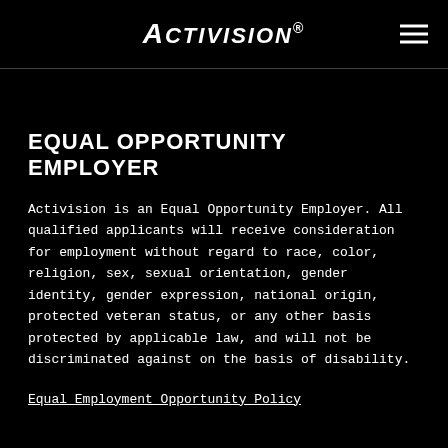ACTIVISION®
EQUAL OPPORTUNITY EMPLOYER
Activision is an Equal Opportunity Employer. All qualified applicants will receive consideration for employment without regard to race, color, religion, sex, sexual orientation, gender identity, gender expression, national origin, protected veteran status, or any other basis protected by applicable law, and will not be discriminated against on the basis of disability.
Equal Employment Opportunity Policy